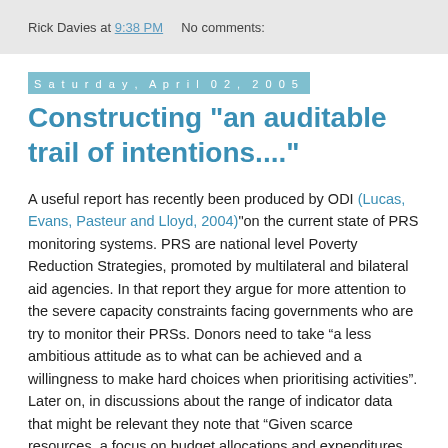Rick Davies at 9:38 PM   No comments:
Saturday, April 02, 2005
Constructing "an auditable trail of intentions...."
A useful report has recently been produced by ODI (Lucas, Evans, Pasteur and Lloyd, 2004)"on the current state of PRS monitoring systems. PRS are national level Poverty Reduction Strategies, promoted by multilateral and bilateral aid agencies. In that report they argue for more attention to the severe capacity constraints facing governments who are try to monitor their PRSs. Donors need to take “a less ambitious attitude as to what can be achieved and a willingness to make hard choices when prioritising activities”. Later on, in discussions about the range of indicator data that might be relevant they note that “Given scarce resources, a focus on budget allocations and expenditures may well an appropriate response, particularly if it involves